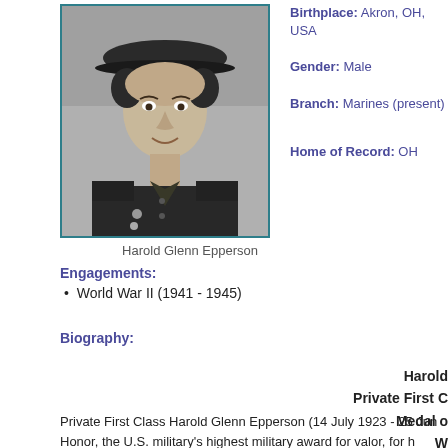[Figure (photo): Black and white portrait photo of Harold Glenn Epperson in military uniform with cap]
Harold Glenn Epperson
Birthplace: Akron, OH, USA
Gender: Male
Branch: Marines (present)
Home of Record: OH
Engagements:
World War II (1941 - 1945)
Biography:
Harold
Private First C
Medal o
W
Private First Class Harold Glenn Epperson (14 July 1923 - 25 Jun Honor, the U.S. military's highest military award for valor, for h
Harold Glenn Epperson was born on 14 July 1923 in Akron, OH